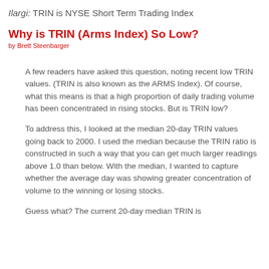Ilargi: TRIN is NYSE Short Term Trading Index
Why is TRIN (Arms Index) So Low?
by Brett Steenbarger
A few readers have asked this question, noting recent low TRIN values. (TRIN is also known as the ARMS Index). Of course, what this means is that a high proportion of daily trading volume has been concentrated in rising stocks. But is TRIN low?
To address this, I looked at the median 20-day TRIN values going back to 2000. I used the median because the TRIN ratio is constructed in such a way that you can get much larger readings above 1.0 than below. With the median, I wanted to capture whether the average day was showing greater concentration of volume to the winning or losing stocks.
Guess what? The current 20-day median TRIN is